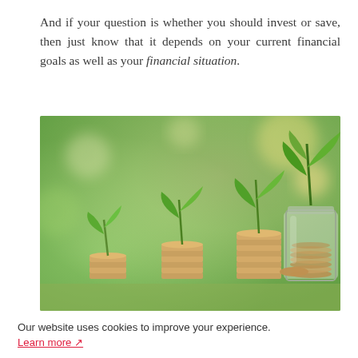And if your question is whether you should invest or save, then just know that it depends on your current financial goals as well as your financial situation.
[Figure (photo): Photo of three stacks of coins of increasing height, each with a green plant seedling growing from the top, and a glass jar filled with coins also bearing a tall green plant, set against a soft-focus green and warm bokeh background.]
Our website uses cookies to improve your experience. Learn more [external link icon]
OK, Go it!